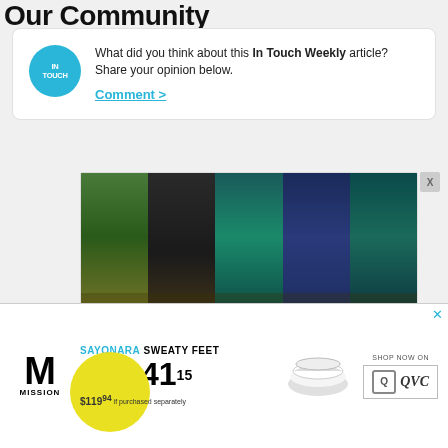Our Community
What did you think about this In Touch Weekly article? Share your opinion below.
Comment >
[Figure (photo): Five athlete photos side by side: golfer, MMA fighter, tennis player, soccer player, football player, with money falling around them]
The 75 Highest Paid Athletes Of 2022 — See How Much They Made
[Figure (advertisement): Mission socks advertisement: SAYONARA SWEATY FEET, 6-PACK $41.15, $119.94 if purchased separately, SHOP NOW ON QVC]